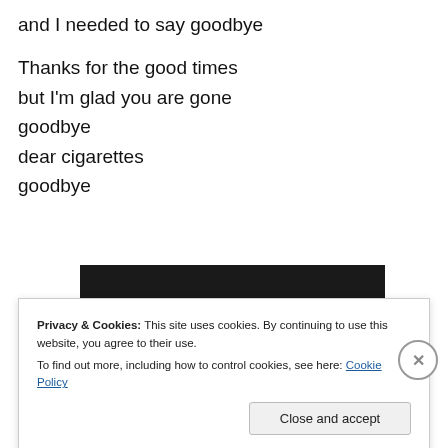and I needed to say goodbye

Thanks for the good times
but I'm glad you are gone
goodbye
dear cigarettes
goodbye
[Figure (photo): Dark background with the word THE spelled out using cigarettes arranged to form letters]
Privacy & Cookies: This site uses cookies. By continuing to use this website, you agree to their use.
To find out more, including how to control cookies, see here: Cookie Policy
Close and accept